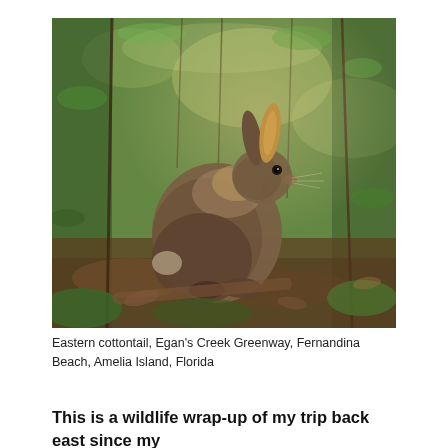[Figure (photo): A brown Eastern cottontail rabbit sitting among green leaves, twigs, and forest floor debris, photographed in dappled sunlight at Egan's Creek Greenway, Fernandina Beach, Amelia Island, Florida.]
Eastern cottontail, Egan's Creek Greenway, Fernandina Beach, Amelia Island, Florida
This is a wildlife wrap-up of my trip back east since my